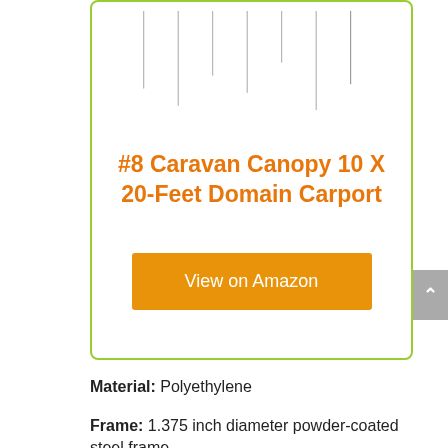[Figure (other): Card with green border containing a product listing. Top portion shows vertical line chart elements. Center has orange product title. Bottom has orange 'View on Amazon' button.]
#8 Caravan Canopy 10 X 20-Feet Domain Carport
View on Amazon
Material: Polyethylene
Frame: 1.375 inch diameter powder-coated steel frame